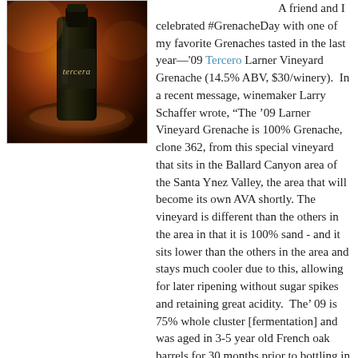[Figure (photo): Close-up photo of a dark wine bottle labeled 'tercero' on what appears to be a wooden or clay plate/surface, with warm amber/brown tones in the background]
A friend and I celebrated #GrenacheDay with one of my favorite Grenaches tasted in the last year—'09 Tercero Larner Vineyard Grenache (14.5% ABV, $30/winery).  In a recent message, winemaker Larry Schaffer wrote, “The '09 Larner Vineyard Grenache is 100% Grenache, clone 362, from this special vineyard that sits in the Ballard Canyon area of the Santa Ynez Valley, the area that will become its own AVA shortly. The vineyard is different than the others in the area in that it is 100% sand - and it sits lower than the others in the area and stays much cooler due to this, allowing for later ripening without sugar spikes and retaining great acidity.  The’ 09 is 75% whole cluster [fermentation] and was aged in 3-5 year old French oak barrels for 30 months prior to bottling in April 2012. I only made 100 cases of this wine and really dig it!”
        I really dig it too. At this time of year, it tastes like the end of summer and the beginning of fall in a bottle—bright and dark all at once.  A medium-bodied wine with soft, integrated